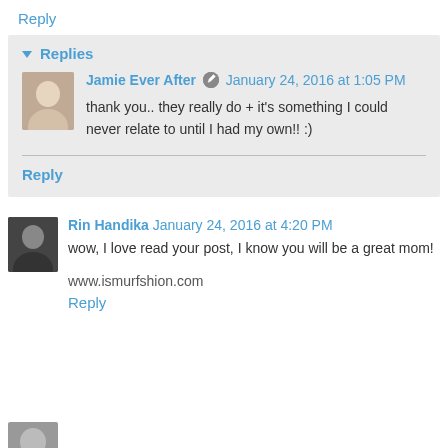Reply
Replies
Jamie Ever After  January 24, 2016 at 1:05 PM
thank you.. they really do + it's something I could never relate to until I had my own!! :)
Reply
Rin Handika  January 24, 2016 at 4:20 PM
wow, I love read your post, I know you will be a great mom!
www.ismurfshion.com
Reply